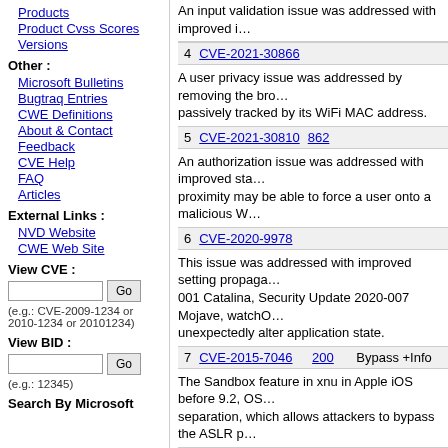Products
Product Cvss Scores
Versions
Other :
Microsoft Bulletins
Bugtraq Entries
CWE Definitions
About & Contact
Feedback
CVE Help
FAQ
Articles
External Links :
NVD Website
CWE Web Site
View CVE :
(e.g.: CVE-2009-1234 or 2010-1234 or 20101234)
View BID :
(e.g.: 12345)
Search By Microsoft
An input validation issue was addressed with improved i...
4 CVE-2021-30866
A user privacy issue was addressed by removing the br... passively tracked by its WiFi MAC address.
5 CVE-2021-30810 862
An authorization issue was addressed with improved sta... proximity may be able to force a user onto a malicious W...
6 CVE-2020-9978
This issue was addressed with improved setting propaga... 001 Catalina, Security Update 2020-007 Mojave, watchO... unexpectedly alter application state.
7 CVE-2015-7046 200 Bypass +Info
The Sandbox feature in xnu in Apple iOS before 9.2, OS... separation, which allows attackers to bypass the ASLR p...
8 CVE-2015-8035 399 DoS
The xz_decomp function in xzlib.c in libxml2 2.9.1 does n... service (process hang) via crafted XML data.
9 CVE-2016-1788 310